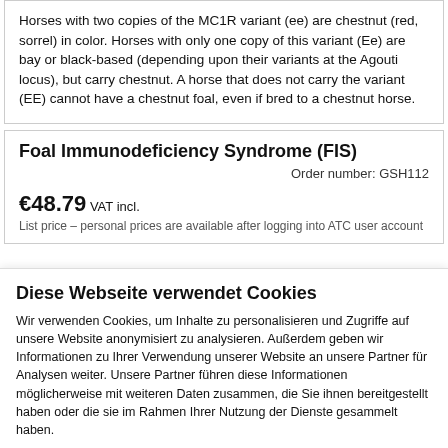Horses with two copies of the MC1R variant (ee) are chestnut (red, sorrel) in color. Horses with only one copy of this variant (Ee) are bay or black-based (depending upon their variants at the Agouti locus), but carry chestnut. A horse that does not carry the variant (EE) cannot have a chestnut foal, even if bred to a chestnut horse.
Foal Immunodeficiency Syndrome (FIS)
Order number: GSH112
€48.79 VAT incl.
List price – personal prices are available after logging into ATC user account
Diese Webseite verwendet Cookies
Wir verwenden Cookies, um Inhalte zu personalisieren und Zugriffe auf unsere Website anonymisiert zu analysieren. Außerdem geben wir Informationen zu Ihrer Verwendung unserer Website an unsere Partner für Analysen weiter. Unsere Partner führen diese Informationen möglicherweise mit weiteren Daten zusammen, die Sie ihnen bereitgestellt haben oder die sie im Rahmen Ihrer Nutzung der Dienste gesammelt haben.
Impressum
Datenschutzerklärung
Nur notwendige Cookies
Cookies zulassen
Details zeigen